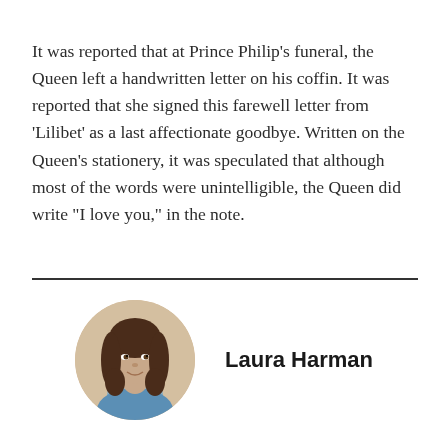It was reported that at Prince Philip's funeral, the Queen left a handwritten letter on his coffin. It was reported that she signed this farewell letter from 'Lilibet' as a last affectionate goodbye. Written on the Queen's stationery, it was speculated that although most of the words were unintelligible, the Queen did write “I love you,” in the note.
[Figure (photo): Circular headshot portrait of Laura Harman, a woman with dark wavy hair wearing a blue shirt, against a beige background.]
Laura Harman